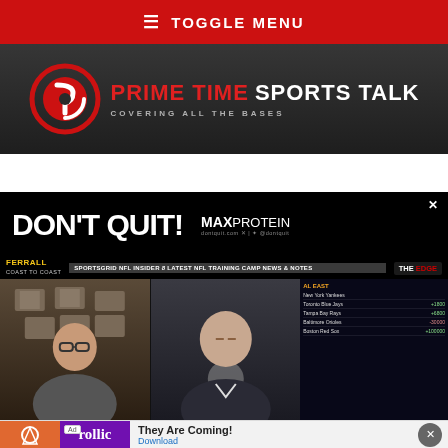≡ TOGGLE MENU
[Figure (logo): Prime Time Sports Talk logo — circular P icon in red/white on dark background, with text PRIME TIME SPORTS TALK and tagline COVERING ALL THE BASES]
[Figure (screenshot): DON'T QUIT! advertisement banner with MAX PROTEIN branding on black background]
[Figure (screenshot): Video screenshot showing Ferrall Coast to Coast SportsGrid NFL Insider segment with two men visible and THE EDGE scores panel on right side showing New York Yankees, Toronto Blue Jays, Tampa Bay Rays, Baltimore Orioles, Boston Red Sox]
[Figure (screenshot): Bottom ad banner showing Rollic game advertisement with text They Are Coming! and Download button]